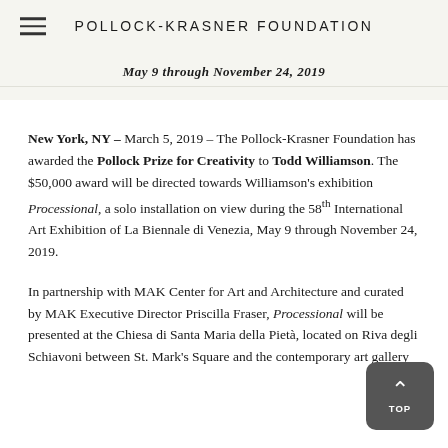POLLOCK-KRASNER FOUNDATION
May 9 through November 24, 2019
New York, NY – March 5, 2019 – The Pollock-Krasner Foundation has awarded the Pollock Prize for Creativity to Todd Williamson. The $50,000 award will be directed towards Williamson's exhibition Processional, a solo installation on view during the 58th International Art Exhibition of La Biennale di Venezia, May 9 through November 24, 2019.
In partnership with MAK Center for Art and Architecture and curated by MAK Executive Director Priscilla Fraser, Processional will be presented at the Chiesa di Santa Maria della Pietà, located on Riva degli Schiavoni between St. Mark's Square and the contemporary art gallery...